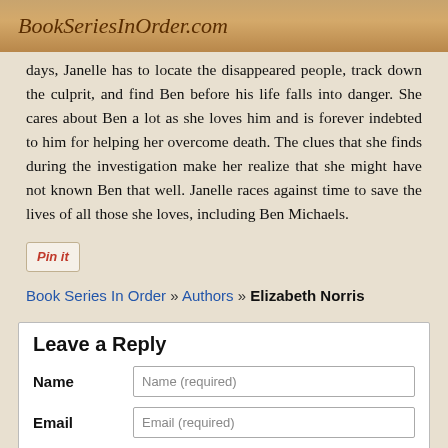BookSeriesInOrder.com
days, Janelle has to locate the disappeared people, track down the culprit, and find Ben before his life falls into danger. She cares about Ben a lot as she loves him and is forever indebted to him for helping her overcome death. The clues that she finds during the investigation make her realize that she might have not known Ben that well. Janelle races against time to save the lives of all those she loves, including Ben Michaels.
[Figure (other): Pin it button]
Book Series In Order » Authors » Elizabeth Norris
Leave a Reply
Name
Name (required)
Email
Email (required)
Comment